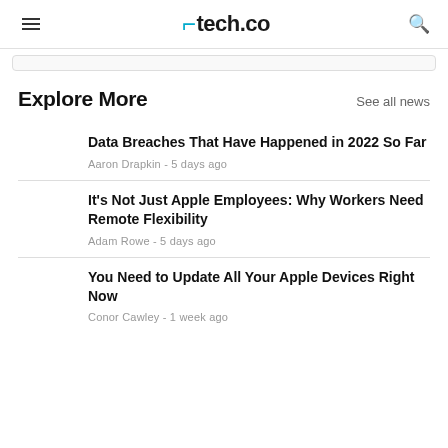tech.co
Explore More
See all news
Data Breaches That Have Happened in 2022 So Far — Aaron Drapkin - 5 days ago
It's Not Just Apple Employees: Why Workers Need Remote Flexibility — Adam Rowe - 5 days ago
You Need to Update All Your Apple Devices Right Now — Conor Cawley - 1 week ago